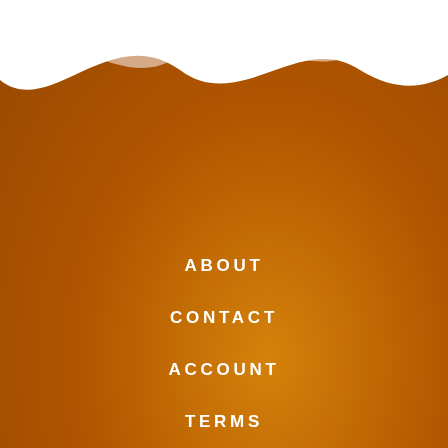[Figure (illustration): Decorative wave shapes at the top of the page — a white wave and a tan/beige wave overlapping on an orange-brown gradient background.]
ABOUT
CONTACT
ACCOUNT
TERMS